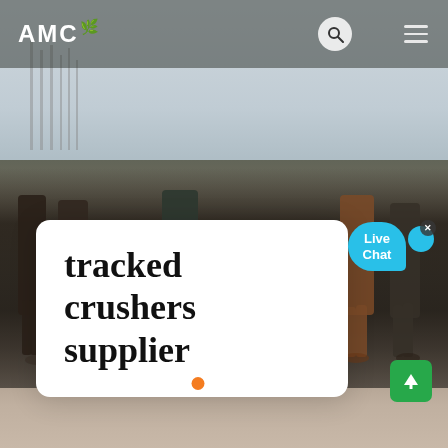AMC
[Figure (photo): Construction site with workers standing around heavy machinery (tracked crusher/mill equipment), sandy ground, overcast sky with rebar structures visible in background]
tracked crushers supplier
Live Chat
[Figure (infographic): Slider navigation dots: orange filled dot (active), two white dots. Green scroll-to-top button with upward arrow.]